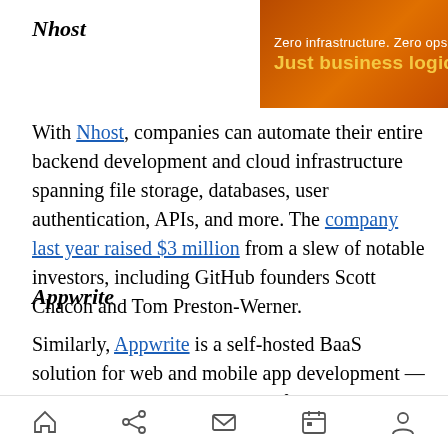Nhost
[Figure (screenshot): Advertisement banner for KALIX: 'Zero infrastructure. Zero ops. Just business logic.' with orange gradient background and KALIX brand name on right, close button.]
With Nhost, companies can automate their entire backend development and cloud infrastructure spanning file storage, databases, user authentication, APIs, and more. The company last year raised $3 million from a slew of notable investors, including GitHub founders Scott Chacon and Tom Preston-Werner.
Appwrite
Similarly, Appwrite is a self-hosted BaaS solution for web and mobile app development — it includes user authentication, file storage, a database for storing and querying data, API management,
Navigation bar with home, share, mail, calendar, profile icons